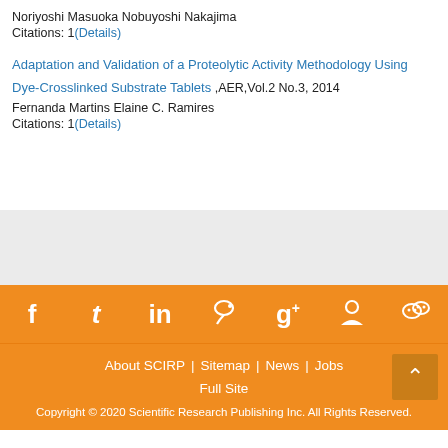Noriyoshi Masuoka Nobuyoshi Nakajima
Citations: 1(Details)
Adaptation and Validation of a Proteolytic Activity Methodology Using Dye-Crosslinked Substrate Tablets ,AER,Vol.2 No.3, 2014
Fernanda Martins Elaine C. Ramires
Citations: 1(Details)
[Figure (other): Social media icons row on orange background: Facebook, Tumblr, LinkedIn, Weibo, Google+, QQ, WeChat]
About SCIRP | Sitemap | News | Jobs
Full Site
Copyright © 2020 Scientific Research Publishing Inc. All Rights Reserved.